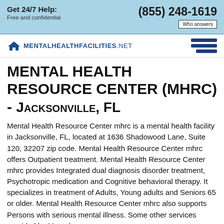Get 24/7 Help: Free and confidential (855) 248-1619 Who answers
[Figure (logo): MentalHealthFacilities.net logo with house icon and hamburger menu]
MENTAL HEALTH RESOURCE CENTER (MHRC) - JACKSONVILLE, FL
Mental Health Resource Center mhrc is a mental health facility in Jacksonville, FL, located at 1636 Shadowood Lane, Suite 120, 32207 zip code. Mental Health Resource Center mhrc offers Outpatient treatment. Mental Health Resource Center mhrc provides Integrated dual diagnosis disorder treatment, Psychotropic medication and Cognitive behavioral therapy. It specializes in treatment of Adults, Young adults and Seniors 65 or older. Mental Health Resource Center mhrc also supports Persons with serious mental illness. Some other services provided by Mental